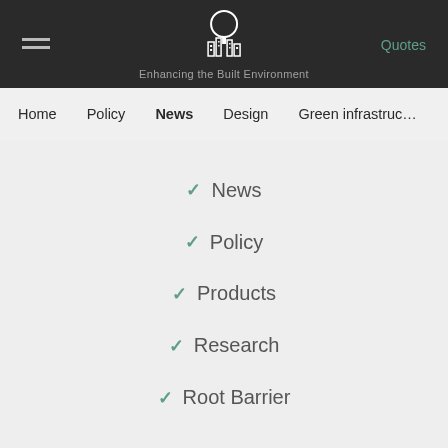Enhancing the Built Environment — Quotes
Home | Policy | News | Design | Green infrastructure
News
Policy
Products
Research
Root Barrier